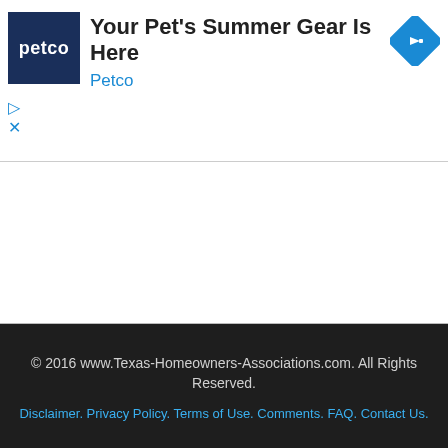[Figure (screenshot): Petco advertisement banner showing the Petco logo (white text on dark navy background), headline 'Your Pet's Summer Gear Is Here', brand name 'Petco' in blue, and a blue navigation/directions icon on the right. Below the ad, small play and X (close) controls appear on the left.]
© 2016 www.Texas-Homeowners-Associations.com. All Rights Reserved.
Disclaimer. Privacy Policy. Terms of Use. Comments. FAQ. Contact Us.